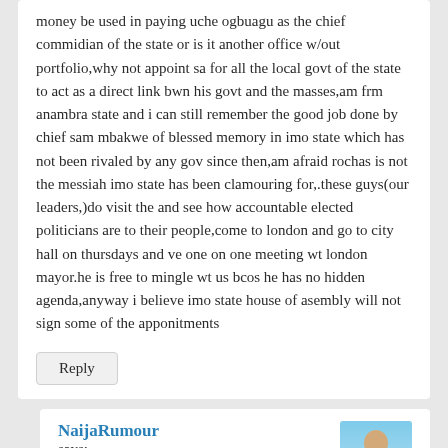money be used in paying uche ogbuagu as the chief commidian of the state or is it another office w/out portfolio,why not appoint sa for all the local govt of the state to act as a direct link bwn his govt and the masses,am frm anambra state and i can still remember the good job done by chief sam mbakwe of blessed memory in imo state which has not been rivaled by any gov since then,am afraid rochas is not the messiah imo state has been clamouring for,.these guys(our leaders,)do visit the and see how accountable elected politicians are to their people,come to london and go to city hall on thursdays and ve one on one meeting wt london mayor.he is free to mingle wt us bcos he has no hidden agenda,anyway i believe imo state house of asembly will not sign some of the apponitments
Reply
NaijaRumour says:
July 21, 2011 at 5:23 AM
He would not the state assembly to appoint ssa and sa…maybe that is why he has to compensate his friends